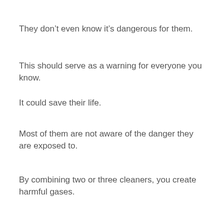They don’t even know it’s dangerous for them.
This should serve as a warning for everyone you know.
It could save their life.
Most of them are not aware of the danger they are exposed to.
By combining two or three cleaners, you create harmful gases.